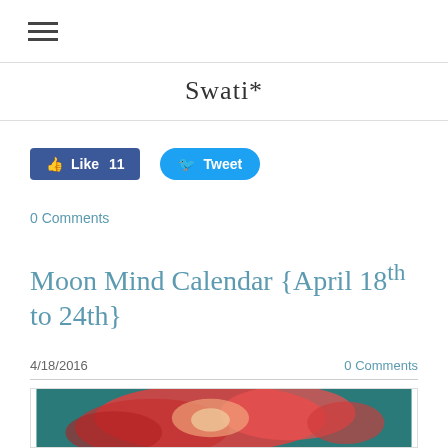≡ Swati*
[Figure (photo): Red/coral flowers (ranunculus) on teal background]
Like 11   Tweet
0 Comments
Moon Mind Calendar {April 18th to 24th}
4/18/2016   0 Comments